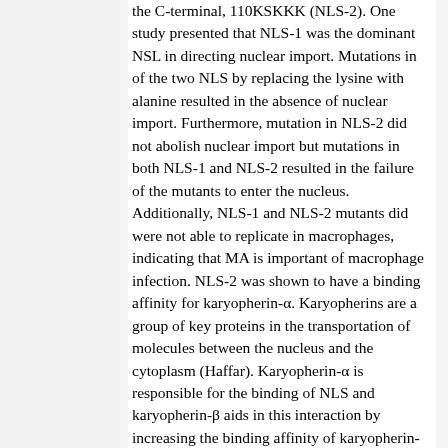the C-terminal, 110KSKKK (NLS-2). One study presented that NLS-1 was the dominant NSL in directing nuclear import. Mutations in of the two NLS by replacing the lysine with alanine resulted in the absence of nuclear import. Furthermore, mutation in NLS-2 did not abolish nuclear import but mutations in both NLS-1 and NLS-2 resulted in the failure of the mutants to enter the nucleus. Additionally, NLS-1 and NLS-2 mutants did were not able to replicate in macrophages, indicating that MA is important of macrophage infection. NLS-2 was shown to have a binding affinity for karyopherin-α. Karyopherins are a group of key proteins in the transportation of molecules between the nucleus and the cytoplasm (Haffar). Karyopherin-α is responsible for the binding of NLS and karyopherin-β aids in this interaction by increasing the binding affinity of karyopherin-α for NLS. Additionally, karyopherin-β is involved in the docking of the viral genome to the nucleoporin.
The secondary structure of Vpr consists of two alpha helices and 2-3 of the N-terminal...